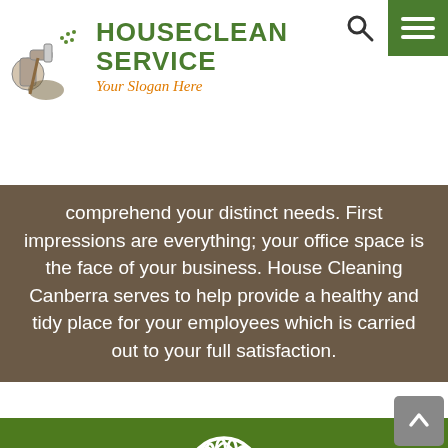[Figure (logo): HouseClean Service logo with cleaning spray bottle icon and slogan 'Your Slogan Here']
comprehend your distinct needs. First impressions are everything; your office space is the face of your business. House Cleaning Canberra serves to help provide a healthy and tidy place for your employees which is carried out to your full satisfaction.
[Figure (illustration): White hand/glove icon on green background]
MOVE IN/OUT
Allow the specialists at House Cleaning Canberra to get rid of the concern of pre and post move